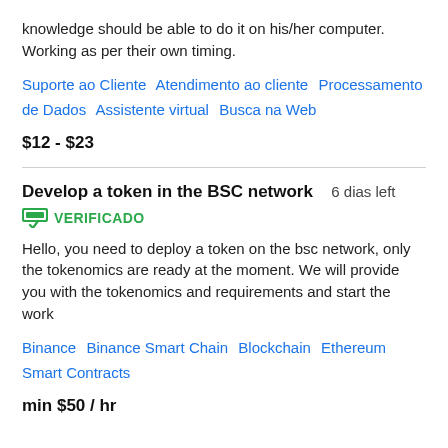knowledge should be able to do it on his/her computer. Working as per their own timing.
Suporte ao Cliente   Atendimento ao cliente   Processamento de Dados   Assistente virtual   Busca na Web
$12 - $23
Develop a token in the BSC network   6 dias left
VERIFICADO
Hello, you need to deploy a token on the bsc network, only the tokenomics are ready at the moment. We will provide you with the tokenomics and requirements and start the work
Binance   Binance Smart Chain   Blockchain   Ethereum   Smart Contracts
min $50 / hr